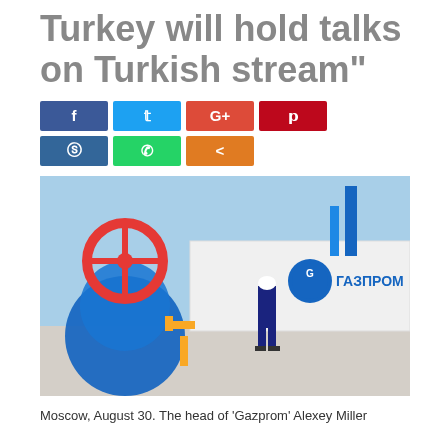Turkey will hold talks on Turkish stream"
[Figure (other): Social media sharing buttons: Facebook (blue), Twitter (light blue), Google+ (red-orange), Pinterest (red), Reddit (blue), WhatsApp (green), Share (orange)]
[Figure (photo): A Gazprom facility with a worker in blue overalls and white hard hat walking past a white container bearing the Gazprom logo and Cyrillic text ГАЗПРОМ. In the foreground is a large blue industrial valve with a red handwheel. Blue pipes and yellow pipes visible in the background.]
Moscow, August 30. The head of 'Gazprom' Alexey Miller